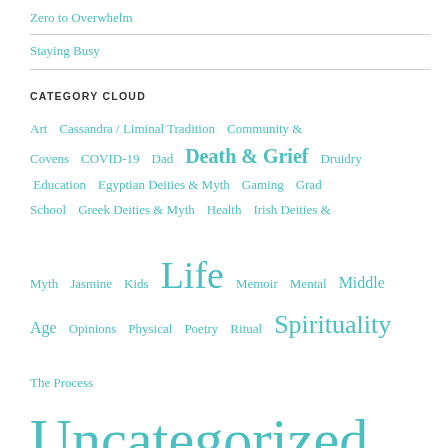Zero to Overwhelm
Staying Busy
CATEGORY CLOUD
Art  Cassandra / Liminal Tradition  Community & Covens  COVID-19  Dad  Death & Grief  Druidry  Education  Egyptian Deities & Myth  Gaming  Grad School  Greek Deities & Myth  Health  Irish Deities & Myth  Jasmine  Kids  Life  Memoir  Mental  Middle Age  Opinions  Physical  Poetry  Ritual  Spirituality  The Process  Uncategorized